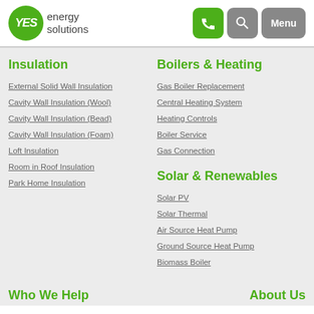[Figure (logo): YES energy solutions logo - green circle with YES text, followed by 'energy solutions' text]
Insulation
External Solid Wall Insulation
Cavity Wall Insulation (Wool)
Cavity Wall Insulation (Bead)
Cavity Wall Insulation (Foam)
Loft Insulation
Room in Roof Insulation
Park Home Insulation
Boilers & Heating
Gas Boiler Replacement
Central Heating System
Heating Controls
Boiler Service
Gas Connection
Solar & Renewables
Solar PV
Solar Thermal
Air Source Heat Pump
Ground Source Heat Pump
Biomass Boiler
Who We Help
About Us